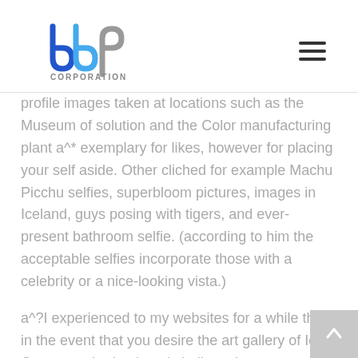bbp CORPORATION
profile images taken at locations such as the Museum of solution and the Color manufacturing plant a^* exemplary for likes, however for placing your self aside. Other cliched for example Machu Picchu selfies, superbloom pictures, images in Iceland, guys posing with tigers, and ever-present bathroom selfie. (according to him the acceptable selfies incorporate those with a celebrity or a nice-looking vista.)
a^?I experienced to my websites for a while that in the event that you desire the art gallery of Ice Cream or shade plant, i shall maybe not use your, half- iskinclyc^2| Hernandez said. a^2| prefers the